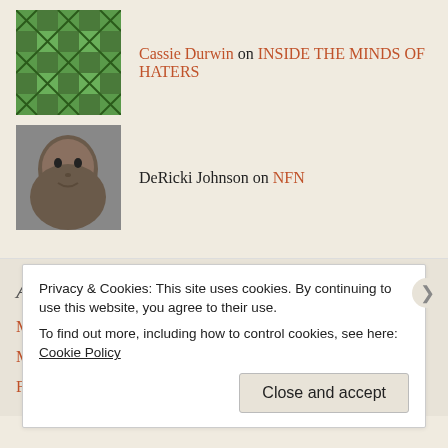Cassie Durwin on INSIDE THE MINDS OF HATERS
DeRicki Johnson on NFN
Archives
May 2022
March 2022
February 2022
Privacy & Cookies: This site uses cookies. By continuing to use this website, you agree to their use. To find out more, including how to control cookies, see here: Cookie Policy
Close and accept